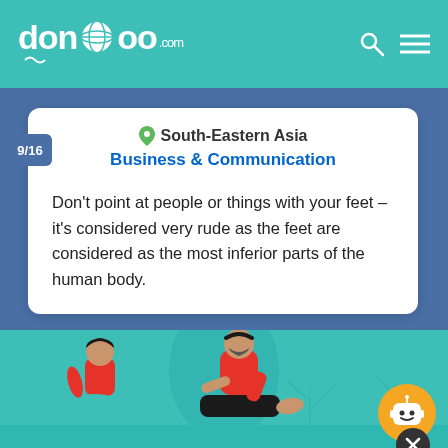dondoo.com
South-Eastern Asia
Business & Communication
Don't point at people or things with your feet – it's considered very rude as the feet are considered as the most inferior parts of the human body.
[Figure (illustration): Illustration of two people sitting: a woman cross-legged on the left and a man with legs stretched out pointing feet forward on the right, with plant and shadow motifs on a teal background. A yellow chatbot icon and dark close button appear in the bottom right.]